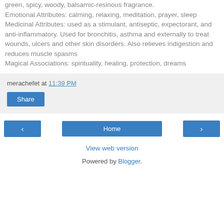green, spicy, woody, balsamic-resinous fragrance.
Emotional Attributes: calming, relaxing, meditation, prayer, sleep
Medicinal Attributes: used as a stimulant, antiseptic, expectorant, and anti-inflammatory. Used for bronchitis, asthma and externally to treat wounds, ulcers and other skin disorders. Also relieves indigestion and reduces muscle spasms
Magical Associations: spirituality, healing, protection, dreams
merachefet at 11:39 PM
Share
‹
Home
›
View web version
Powered by Blogger.